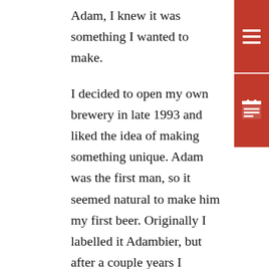Adam, I knew it was something I wanted to make.
I decided to open my own brewery in late 1993 and liked the idea of making something unique. Adam was the first man, so it seemed natural to make him my first beer. Originally I labelled it Adambier, but after a couple years I submitted some graphic changes to the Tax and Trade Bureau (TTB) and was told it was too strong to be called "beer." Instead of fighting, I changed the name to Adam and my theme of four letter beer names began.
My recipe has not changed much in thirty